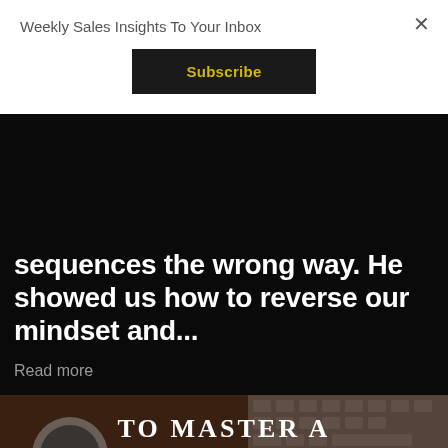Weekly Sales Insights To Your Inbox
Subscribe
×
sequences the wrong way. He showed us how to reverse our mindset and...
Read more
[Figure (photo): Dark background image with text overlay reading 'TO MASTER A SALES SCRIPT, PRACTICE UNTIL' in large white serif letters, with a coffee cup and laptop keyboard visible in background]